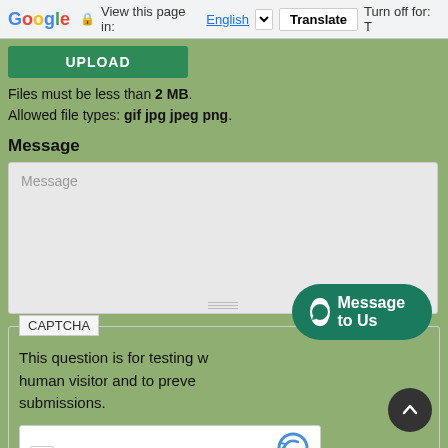Google  View this page in: English [▼]  Translate  Turn off for: T
[Figure (screenshot): UPLOAD button - green rounded rectangle with white bold text 'UPLOAD']
Files must be less than 2 MB.
Allowed file types: gif jpg jpeg png.
Message
[Figure (screenshot): Empty message textarea with placeholder text 'Message' and resize handle at bottom]
CAPTCHA
This question is for testing whether or not you are a human visitor and to prevent automated spam submissions.
[Figure (screenshot): reCAPTCHA widget with checkbox and 'I'm not a robot' text and reCAPTCHA logo]
[Figure (screenshot): WhatsApp 'Message to Us' floating button overlay]
[Figure (screenshot): Scroll to top circular dark button with up arrow]